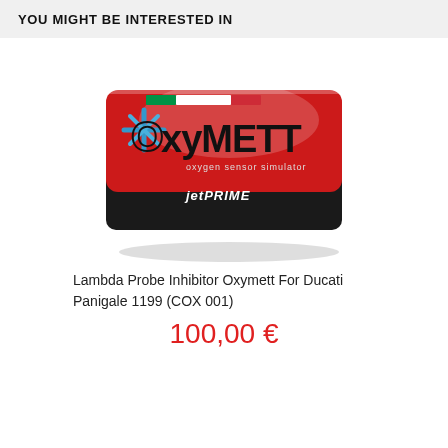YOU MIGHT BE INTERESTED IN
[Figure (photo): Product photo of OxyMETT oxygen sensor simulator device by JetPrime — a rectangular black box with a red top face showing the OxyMETT logo (stylized O with blue star, 'xyMETT' in bold black) and 'oxygen sensor simulator' text, with an Italian flag stripe on top edge and JetPrime logo at bottom.]
Lambda Probe Inhibitor Oxymett For Ducati Panigale 1199 (COX 001)
100,00 €